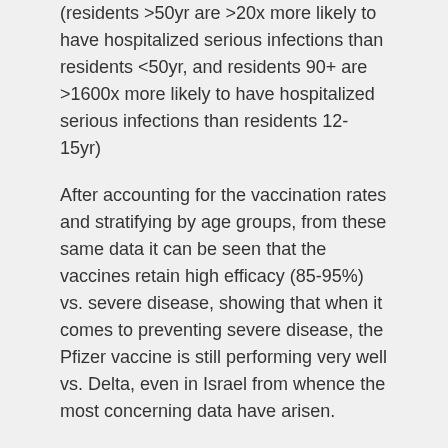(residents >50yr are >20x more likely to have hospitalized serious infections than residents <50yr, and residents 90+ are >1600x more likely to have hospitalized serious infections than residents 12-15yr)
After accounting for the vaccination rates and stratifying by age groups, from these same data it can be seen that the vaccines retain high efficacy (85-95%) vs. severe disease, showing that when it comes to preventing severe disease, the Pfizer vaccine is still performing very well vs. Delta, even in Israel from whence the most concerning data have arisen.
Vaccine efficacy vs. severe disease for younger (<50yr) = 1 – 0.3/3.9 = 91.8%